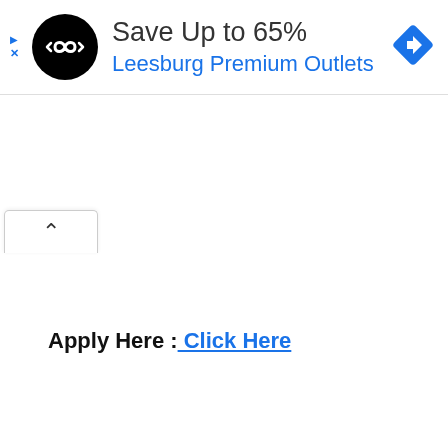[Figure (screenshot): Mobile advertisement banner for Leesburg Premium Outlets showing black circular logo with infinity-like symbol, headline 'Save Up to 65%', subline 'Leesburg Premium Outlets' in blue, a blue diamond navigation icon on the right, and small blue play/close controls on the left edge.]
[Figure (screenshot): A collapsed tab/accordion control showing an upward chevron arrow inside a rounded rectangle tab button.]
Apply Here : Click Here